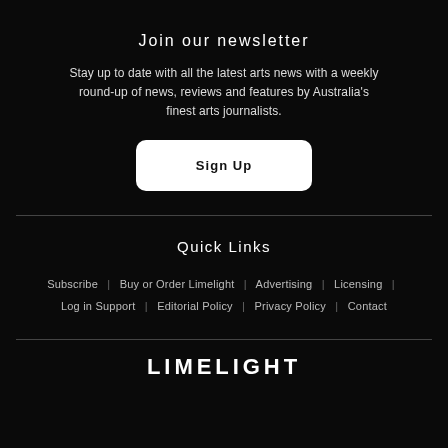Join our newsletter
Stay up to date with all the latest arts news with a weekly round-up of news, reviews and features by Australia's finest arts journalists.
Sign Up
Quick Links
Subscribe | Buy or Order Limelight | Advertising | Licensing | Log in Support | Editorial Policy | Privacy Policy | Contact
LIMELIGHT